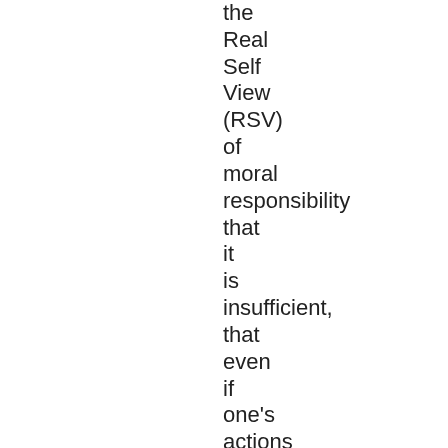the Real Self View (RSV) of moral responsibility that it is insufficient, that even if one's actions are expressions of one's deepest